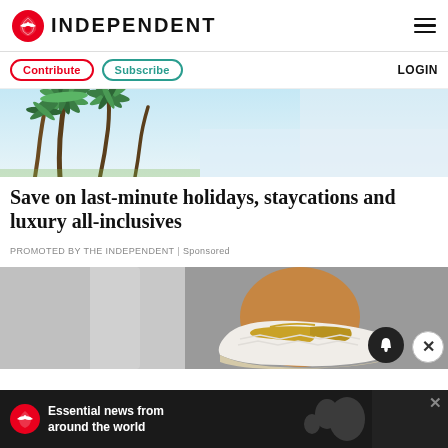INDEPENDENT
Contribute | Subscribe | LOGIN
[Figure (photo): Tropical beach scene with palm trees against a light blue sky]
Save on last-minute holidays, staycations and luxury all-inclusives
PROMOTED BY THE INDEPENDENT | Sponsored
[Figure (photo): Close-up of a person's feet wearing white platform sandals with gold detail, standing on a wooden surface]
Essential news from around the world